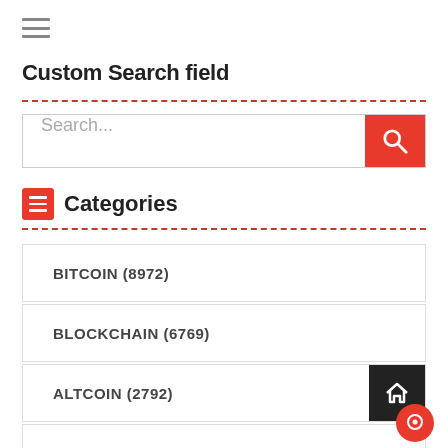[Figure (other): Hamburger menu icon (three horizontal lines)]
Custom Search field
[Figure (other): Search input field with red search button]
Categories
BITCOIN (8972)
BLOCKCHAIN (6769)
ALTCOIN (2792)
CRYPTOCURRENCIES (2416)